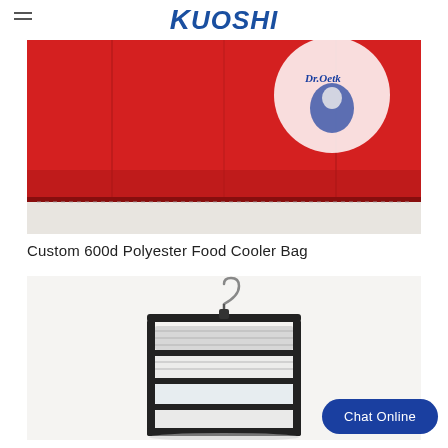KUOSHI
[Figure (photo): Red custom 600d polyester food cooler bag with Dr. Oetker logo on the side, photographed from above showing the bottom and side panels on a white background.]
Custom 600d Polyester Food Cooler Bag
[Figure (photo): Open hanging toiletry/organizer bag with metal hook, black frame, and multiple clear mesh pockets laid flat, photographed on a light background.]
Chat Online